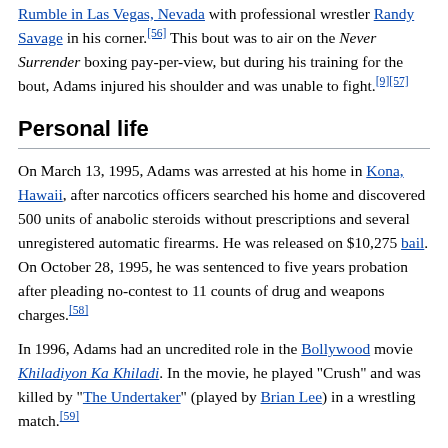...in Las Vegas, Nevada with professional wrestler Randy Savage in his corner.[56] This bout was to air on the Never Surrender boxing pay-per-view, but during his training for the bout, Adams injured his shoulder and was unable to fight.[9][57]
Personal life
On March 13, 1995, Adams was arrested at his home in Kona, Hawaii, after narcotics officers searched his home and discovered 500 units of anabolic steroids without prescriptions and several unregistered automatic firearms. He was released on $10,275 bail. On October 28, 1995, he was sentenced to five years probation after pleading no-contest to 11 counts of drug and weapons charges.[58]
In 1996, Adams had an uncredited role in the Bollywood movie Khiladiyon Ka Khiladi. In the movie, he played "Crush" and was killed by "The Undertaker" (played by Brian Lee) in a wrestling match.[59]
Adams had surgery to attempt to correct his spinal injury, but it left him unfit to continue to wrestle.[60] Following his retirement, Adams became a bodyguard for his longtime friend, wrestler-